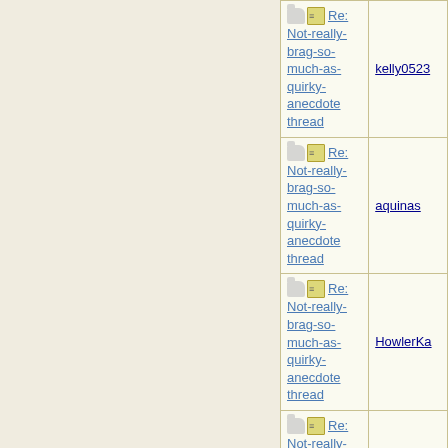| Subject | Author |
| --- | --- |
| Re: Not-really-brag-so-much-as-quirky-anecdote thread | kelly0523 |
| Re: Not-really-brag-so-much-as-quirky-anecdote thread | aquinas |
| Re: Not-really-brag-so-much-as-quirky-anecdote thread | HowlerKa |
| Re: Not-really-brag-so-much-as-quirky-anecdote thread | ultramarin |
| Re: Not-really-brag-so-much-as-quirky-anecdote thread | aquinas |
| Re: Not-really-brag-so-much-as-quirky-anecdote thread | Bostonian |
| Re: Not-really-brag-so-much-as-quirky-anecdote thread | KJP |